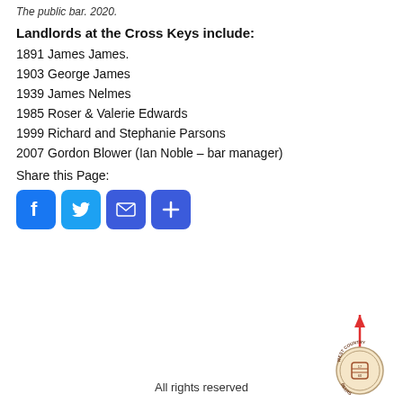The public bar. 2020.
Landlords at the Cross Keys include:
1891 James James.
1903 George James
1939 James Nelmes
1985 Roser & Valerie Edwards
1999 Richard and Stephanie Parsons
2007 Gordon Blower (Ian Noble – bar manager)
Share this Page:
[Figure (infographic): Social share buttons: Facebook, Twitter, Email, More]
All rights reserved
[Figure (logo): West Country Beers circular logo with red arrow pointing up]